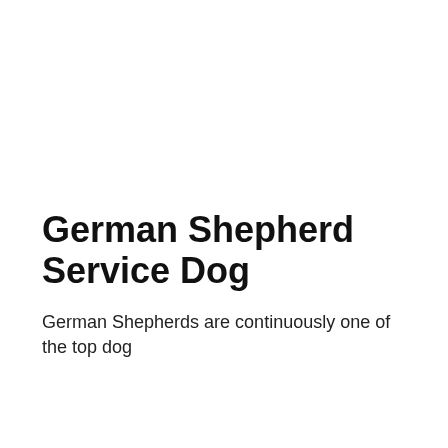German Shepherd Service Dog
German Shepherds are continuously one of the top dog